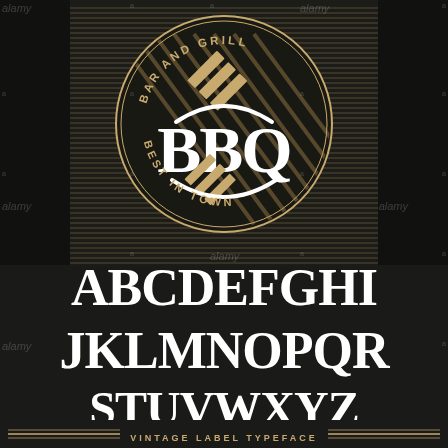[Figure (logo): Circular BBQ Bar and Grill badge/logo on dark background with horizontal gold lines pattern. Circle contains 'BAR AND GRILL' text at top arc, 'BBQ' in large white serif letters, diagonal stripe graphic elements, and 'BEST IN TOWN' text at bottom arc. White curved lines frame the BBQ text.]
ABCDEFGHI
JKLMNOPQR
STUVWXYZ
VINTAGE LABEL TYPEFACE